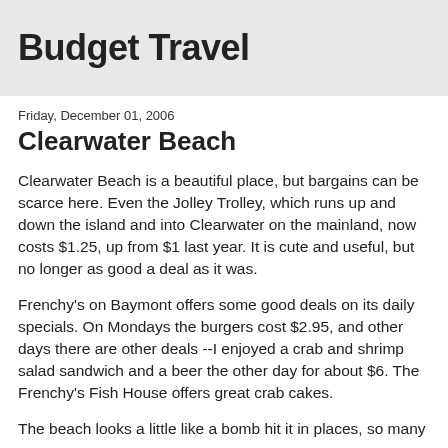Budget Travel
Friday, December 01, 2006
Clearwater Beach
Clearwater Beach is a beautiful place, but bargains can be scarce here. Even the Jolley Trolley, which runs up and down the island and into Clearwater on the mainland, now costs $1.25, up from $1 last year. It is cute and useful, but no longer as good a deal as it was.
Frenchy's on Baymont offers some good deals on its daily specials. On Mondays the burgers cost $2.95, and other days there are other deals --I enjoyed a crab and shrimp salad sandwich and a beer the other day for about $6. The Frenchy's Fish House offers great crab cakes.
The beach looks a little like a bomb hit it in places, so many